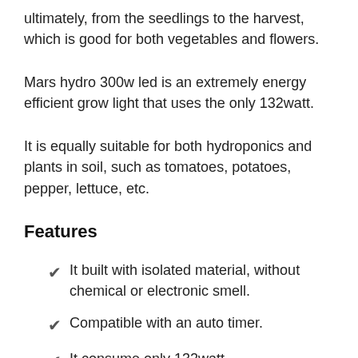ultimately, from the seedlings to the harvest, which is good for both vegetables and flowers.
Mars hydro 300w led is an extremely energy efficient grow light that uses the only 132watt.
It is equally suitable for both hydroponics and plants in soil, such as tomatoes, potatoes, pepper, lettuce, etc.
Features
It built with isolated material, without chemical or electronic smell.
Compatible with an auto timer.
It consume only 132watt.